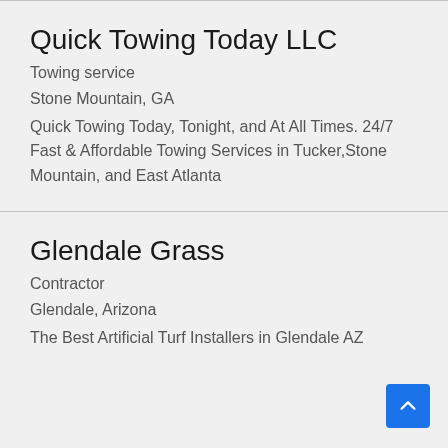Quick Towing Today LLC
Towing service
Stone Mountain, GA
Quick Towing Today, Tonight, and At All Times. 24/7 Fast & Affordable Towing Services in Tucker,Stone Mountain, and East Atlanta
Glendale Grass
Contractor
Glendale, Arizona
The Best Artificial Turf Installers in Glendale AZ